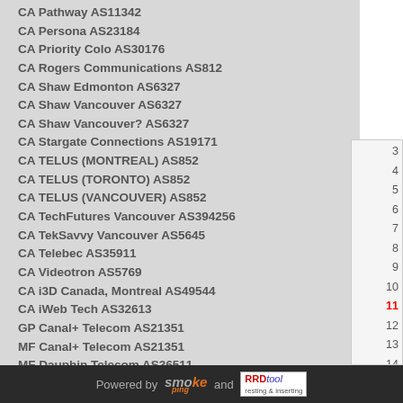CA Pathway AS11342
CA Persona AS23184
CA Priority Colo AS30176
CA Rogers Communications AS812
CA Shaw Edmonton AS6327
CA Shaw Vancouver AS6327
CA Shaw Vancouver? AS6327
CA Stargate Connections AS19171
CA TELUS (MONTREAL) AS852
CA TELUS (TORONTO) AS852
CA TELUS (VANCOUVER) AS852
CA TechFutures Vancouver AS394256
CA TekSavvy Vancouver AS5645
CA Telebec AS35911
CA Videotron AS5769
CA i3D Canada, Montreal AS49544
CA iWeb Tech AS32613
GP Canal+ Telecom AS21351
MF Canal+ Telecom AS21351
MF Dauphin Telecom AS36511
MQ Canal+ Telecom AS21351
US AT&T AS2685
US AT&T AS7018
US AT&T AS7018
US AT&T AS7018
US AT&T AS7018
3
4
5
6
7
8
9
10
11
12
13
14
15
16
17
18
Powered by smokeping and RRDtool